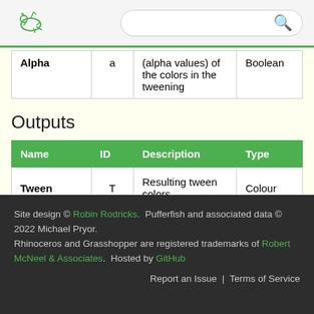[Grasshopper logo] [Search bar]
| Name | ID | Description | Type |
| --- | --- | --- | --- |
| Alpha | a | (alpha values) of the colors in the tweening | Boolean |
Outputs
| Name | ID | Description | Type |
| --- | --- | --- | --- |
| Tween | T | Resulting tween colors | Colour |
Site design © Robin Rodricks.  Pufferfish and associated data © 2022 Michael Pryor.
Rhinoceros and Grasshopper are registered trademarks of Robert McNeel & Associates.  Hosted by GitHub
Report an Issue  |  Terms of Service